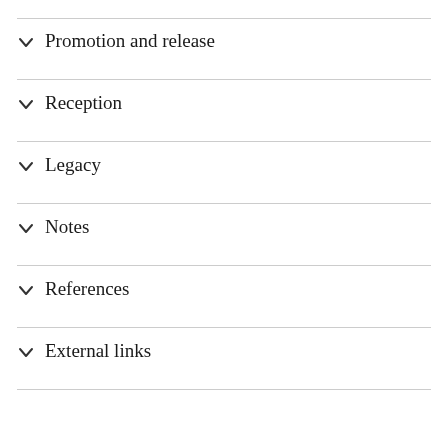Promotion and release
Reception
Legacy
Notes
References
External links